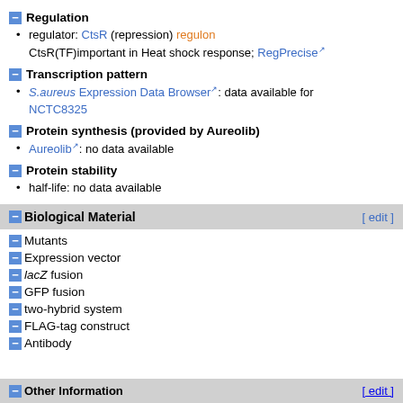Regulation
regulator: CtsR (repression) regulon CtsR(TF)important in Heat shock response; RegPrecise
Transcription pattern
S.aureus Expression Data Browser: data available for NCTC8325
Protein synthesis (provided by Aureolib)
Aureolib: no data available
Protein stability
half-life: no data available
Biological Material
Mutants
Expression vector
/lacZ fusion
GFP fusion
two-hybrid system
FLAG-tag construct
Antibody
Other Information